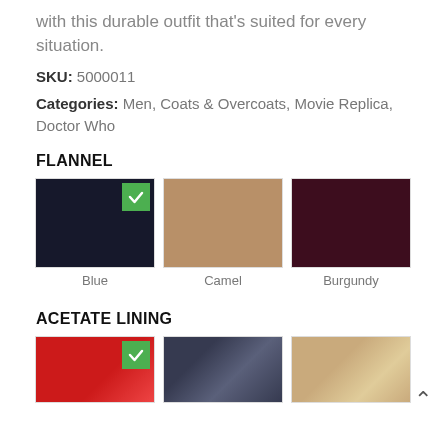with this durable outfit that's suited for every situation.
SKU:  5000011
Categories:  Men,  Coats & Overcoats,  Movie Replica,  Doctor Who
FLANNEL
[Figure (other): Three fabric swatches for Flannel: Blue (selected, with green checkmark), Camel, Burgundy. Each swatch is a solid color square with a label below.]
ACETATE LINING
[Figure (other): Three fabric swatches for Acetate Lining (partially visible): Red (selected, with green checkmark), dark blue/grey, and gold/champagne. Scroll-up arrow visible at right.]